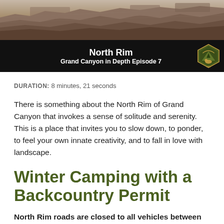[Figure (photo): Aerial/scenic photo of Grand Canyon rocky landscape with layered canyon walls and mesas]
North Rim
Grand Canyon in Depth Episode 7
DURATION: 8 minutes, 21 seconds
There is something about the North Rim of Grand Canyon that invokes a sense of solitude and serenity. This is a place that invites you to slow down, to ponder, to feel your own innate creativity, and to fall in love with landscape.
Winter Camping with a Backcountry Permit
North Rim roads are closed to all vehicles between December 1st and May 15th, and no visitor services are available. During these winter months backpackers,